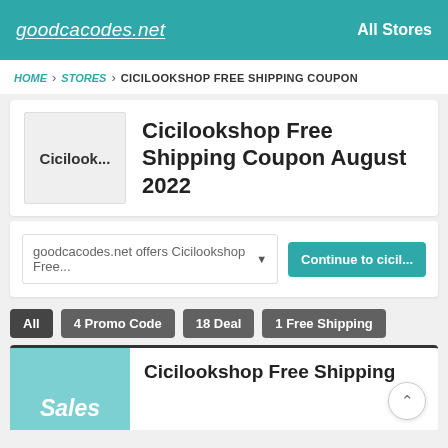goodcacodes.net   All Stores
HOME > STORES > CICILOOKSHOP FREE SHIPPING COUPON
Cicilookshop Free Shipping Coupon August 2022
goodcacodes.net offers Cicilookshop Free...   Continue to cicil...
All
4 Promo Code
18 Deal
1 Free Shipping
Cicilookshop Free Shipping